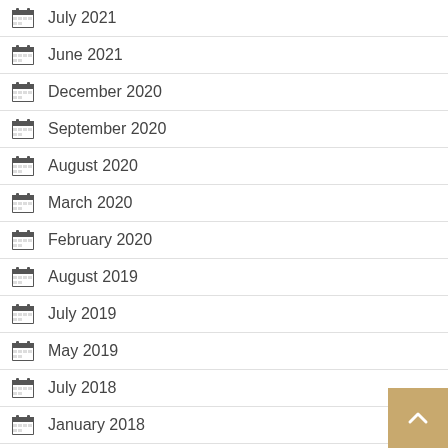July 2021
June 2021
December 2020
September 2020
August 2020
March 2020
February 2020
August 2019
July 2019
May 2019
July 2018
January 2018
October 2017